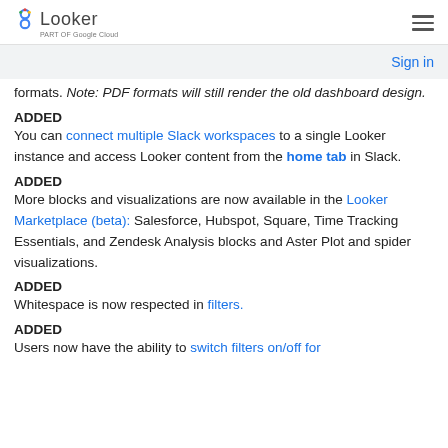Looker — part of Google Cloud
formats. Note: PDF formats will still render the old dashboard design.
ADDED
You can connect multiple Slack workspaces to a single Looker instance and access Looker content from the home tab in Slack.
ADDED
More blocks and visualizations are now available in the Looker Marketplace (beta): Salesforce, Hubspot, Square, Time Tracking Essentials, and Zendesk Analysis blocks and Aster Plot and spider visualizations.
ADDED
Whitespace is now respected in filters.
ADDED
Users now have the ability to switch filters on/off for